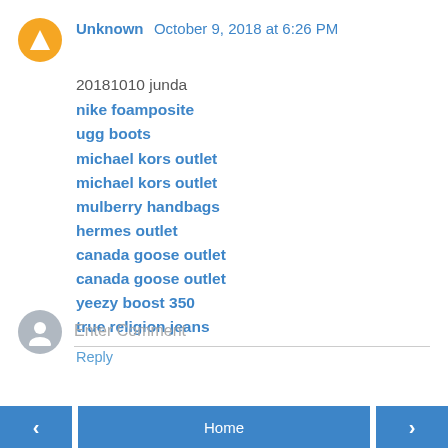Unknown  October 9, 2018 at 6:26 PM
20181010 junda
nike foamposite
ugg boots
michael kors outlet
michael kors outlet
mulberry handbags
hermes outlet
canada goose outlet
canada goose outlet
yeezy boost 350
true religion jeans
Reply
Enter Comment
< Home >